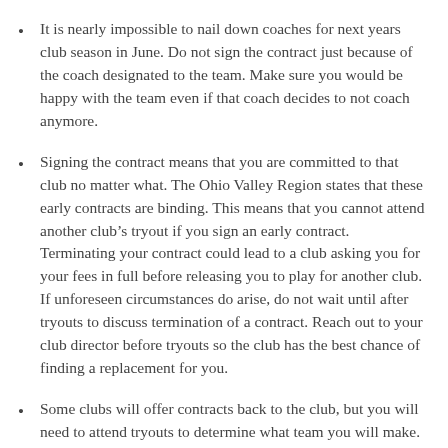It is nearly impossible to nail down coaches for next years club season in June. Do not sign the contract just because of the coach designated to the team. Make sure you would be happy with the team even if that coach decides to not coach anymore.
Signing the contract means that you are committed to that club no matter what. The Ohio Valley Region states that these early contracts are binding. This means that you cannot attend another club's tryout if you sign an early contract. Terminating your contract could lead to a club asking you for your fees in full before releasing you to play for another club. If unforeseen circumstances do arise, do not wait until after tryouts to discuss termination of a contract. Reach out to your club director before tryouts so the club has the best chance of finding a replacement for you.
Some clubs will offer contracts back to the club, but you will need to attend tryouts to determine what team you will make. Before signing this type of contract, make sure you can see yourself playing on the lowest level team listed